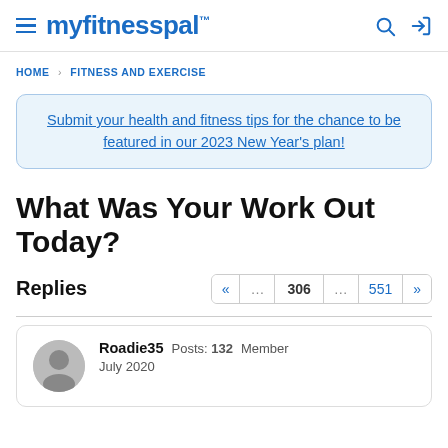myfitnesspal
HOME › FITNESS AND EXERCISE
Submit your health and fitness tips for the chance to be featured in our 2023 New Year's plan!
What Was Your Work Out Today?
Replies  « … 306 … 551 »
Roadie35  Posts: 132  Member  July 2020